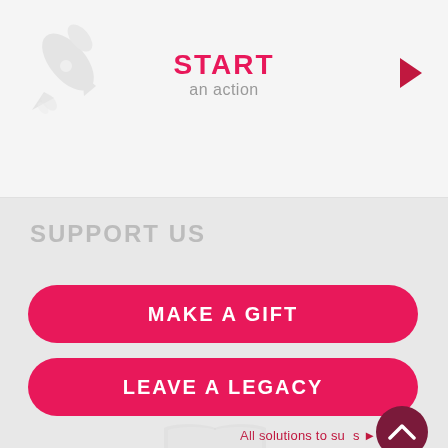[Figure (illustration): Rocket icon in light gray]
START an action
SUPPORT US
MAKE A GIFT
LEAVE A LEGACY
All solutions to su...s ▶